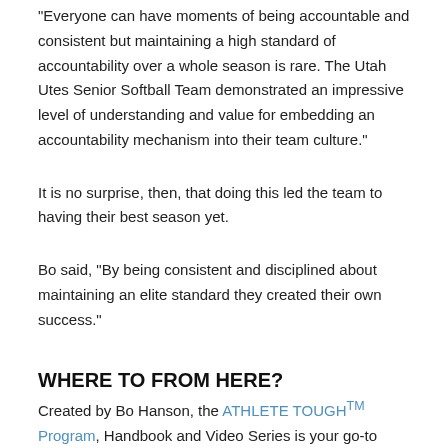"Everyone can have moments of being accountable and consistent but maintaining a high standard of accountability over a whole season is rare. The Utah Utes Senior Softball Team demonstrated an impressive level of understanding and value for embedding an accountability mechanism into their team culture."
It is no surprise, then, that doing this led the team to having their best season yet.
Bo said, "By being consistent and disciplined about maintaining an elite standard they created their own success."
WHERE TO FROM HERE?
Created by Bo Hanson, the ATHLETE TOUGHTM Program, Handbook and Video Series is your go-to guide for developing mental toughness in your athletes. Being ATHLETE TOUGHTM is defined by the actions you take when your performance matters the most. This unique and proven program is designed to ensure